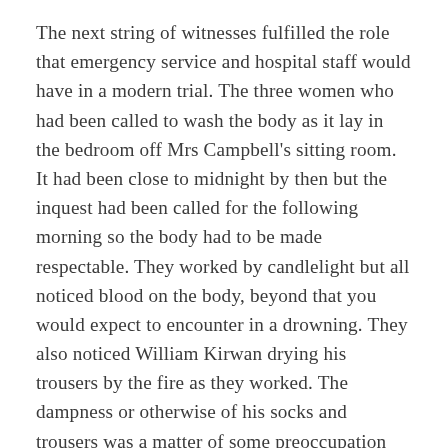The next string of witnesses fulfilled the role that emergency service and hospital staff would have in a modern trial. The three women who had been called to wash the body as it lay in the bedroom off Mrs Campbell's sitting room. It had been close to midnight by then but the inquest had been called for the following morning so the body had to be made respectable. They worked by candlelight but all noticed blood on the body, beyond that you would expect to encounter in a drowning. They also noticed William Kirwan drying his trousers by the fire as they worked. The dampness or otherwise of his socks and trousers was a matter of some preoccupation for the defence. They were intent on proving that Kirwan had not gone paddling while he held his wife's head under the water in the Long Hole where her body was found. Any residual dampness had been caused by long grass during the search they insisted, at every opportunity.